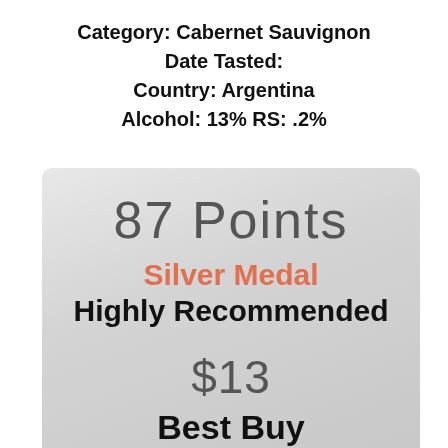Category: Cabernet Sauvignon
Date Tasted:
Country: Argentina
Alcohol: 13% RS: .2%
[Figure (infographic): Score panel with gradient background showing 87 Points, Silver Medal, Highly Recommended, $13, Best Buy]